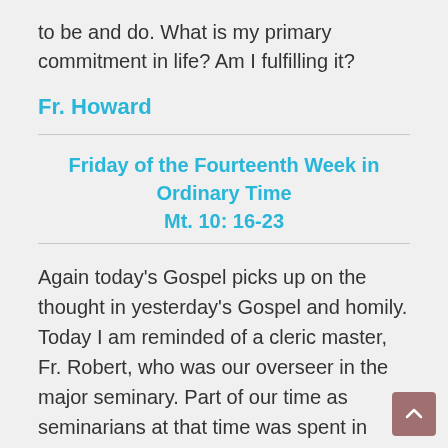to be and do. What is my primary commitment in life? Am I fulfilling it?
Fr. Howard
Friday of the Fourteenth Week in Ordinary Time
Mt. 10: 16-23
Again today's Gospel picks up on the thought in yesterday's Gospel and homily. Today I am reminded of a cleric master, Fr. Robert, who was our overseer in the major seminary. Part of our time as seminarians at that time was spent in